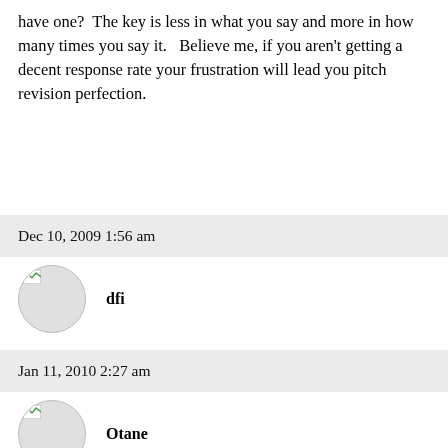have one?  The key is less in what you say and more in how many times you say it.   Believe me, if you aren't getting a decent response rate your frustration will lead you pitch revision perfection.
Dec 10, 2009 1:56 am
dfi
Thanks for the response bondguy and squash.
Jan 11, 2010 2:27 am
Otane